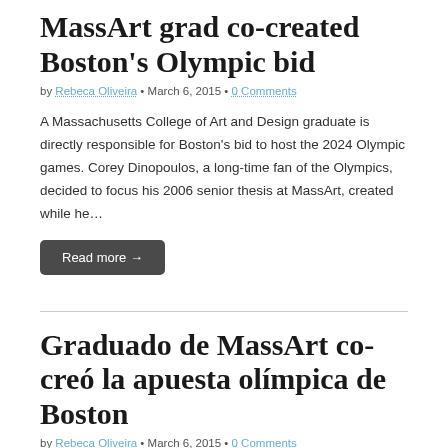MassArt grad co-created Boston's Olympic bid
by Rebeca Oliveira • March 6, 2015 • 0 Comments
A Massachusetts College of Art and Design graduate is directly responsible for Boston's bid to host the 2024 Olympic games. Corey Dinopoulos, a long-time fan of the Olympics, decided to focus his 2006 senior thesis at MassArt, created while he…
Read more →
Graduado de MassArt co-creó la apuesta olímpica de Boston
by Rebeca Oliveira • March 6, 2015 • 0 Comments